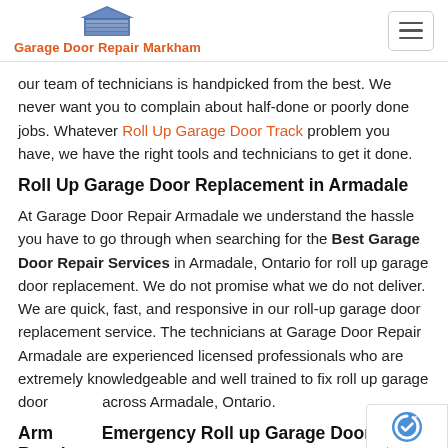Garage Door Repair Markham
our team of technicians is handpicked from the best. We never want you to complain about half-done or poorly done jobs. Whatever Roll Up Garage Door Track problem you have, we have the right tools and technicians to get it done.
Roll Up Garage Door Replacement in Armadale
At Garage Door Repair Armadale we understand the hassle you have to go through when searching for the Best Garage Door Repair Services in Armadale, Ontario for roll up garage door replacement. We do not promise what we do not deliver. We are quick, fast, and responsive in our roll-up garage door replacement service. The technicians at Garage Door Repair Armadale are experienced licensed professionals who are extremely knowledgeable and well trained to fix roll up garage door across Armadale, Ontario.
Armadale Emergency Roll up Garage Door Repair
When it comes to repairing your roll-up garage door in an